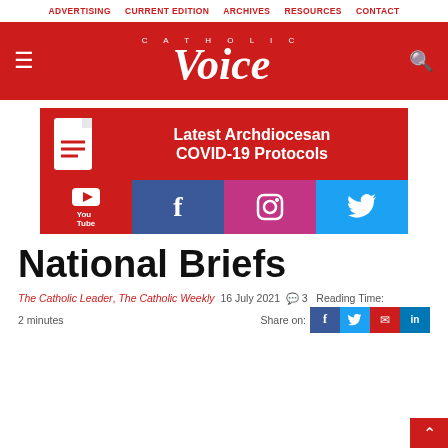ADVERTISING  CURRENT EDITION  ARCHIVES  RESOURCES  CONTACT
[Figure (logo): Catholic Voice logo on red header bar with hamburger menu and search icon]
[Figure (infographic): Red banner with document icon: Latest Archdiocesan COVID-19 Protocols, with social media icons (YouTube, Facebook, Instagram, Twitter)]
National Briefs
The Catholic Leader, The Catholic Weekly  16 July 2021  💬 3  Reading Time:  2 minutes  Share on:
[Figure (infographic): Share buttons: Facebook, Twitter, Email, LinkedIn]